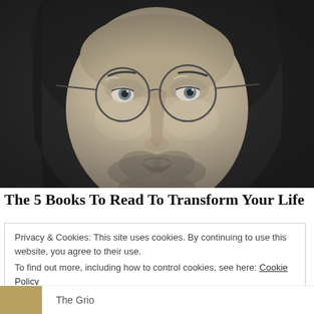[Figure (photo): Black and white close-up portrait of a young man with round glasses and long dark hair, looking slightly upward]
The 5 Books To Read To Transform Your Life in 2022
Privacy & Cookies: This site uses cookies. By continuing to use this website, you agree to their use.
To find out more, including how to control cookies, see here: Cookie Policy
Close and accept
The Grio